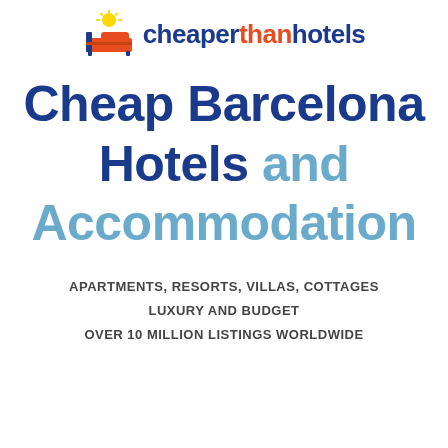[Figure (logo): CheaperThanHotels logo with bed icon and sun, text reading cheaperthanhotels with 'than' in orange and rest in dark blue]
Cheap Barcelona Hotels and Accommodation
APARTMENTS, RESORTS, VILLAS, COTTAGES
LUXURY AND BUDGET
OVER 10 MILLION LISTINGS WORLDWIDE